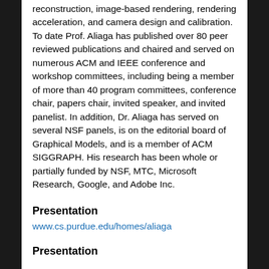reconstruction, image-based rendering, rendering acceleration, and camera design and calibration. To date Prof. Aliaga has published over 80 peer reviewed publications and chaired and served on numerous ACM and IEEE conference and workshop committees, including being a member of more than 40 program committees, conference chair, papers chair, invited speaker, and invited panelist. In addition, Dr. Aliaga has served on several NSF panels, is on the editorial board of Graphical Models, and is a member of ACM SIGGRAPH. His research has been whole or partially funded by NSF, MTC, Microsoft Research, Google, and Adobe Inc.
Presentation
www.cs.purdue.edu/homes/aliaga
Presentation